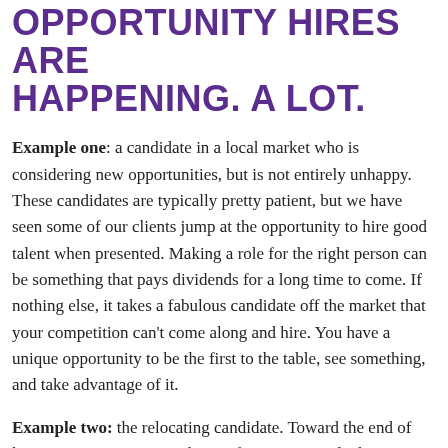OPPORTUNITY HIRES ARE HAPPENING. A LOT.
Example one: a candidate in a local market who is considering new opportunities, but is not entirely unhappy. These candidates are typically pretty patient, but we have seen some of our clients jump at the opportunity to hire good talent when presented. Making a role for the right person can be something that pays dividends for a long time to come. If nothing else, it takes a fabulous candidate off the market that your competition can't come along and hire. You have a unique opportunity to be the first to the table, see something, and take advantage of it.
Example two: the relocating candidate. Toward the end of last year we saw more and more firms sit up and take notice of a candidate who is relocating to their area for personal reasons.